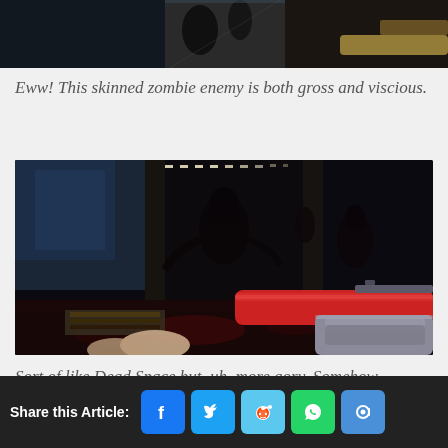[Figure (screenshot): Top portion of a first-person shooter game screenshot showing zombie enemy and weapon]
Eww! This skinned zombie enemy is both gross and viscious.
[Figure (screenshot): First-person shooter game screenshot showing dark corridor with zombie enemies and red gun barrel in foreground, similar to Dead Space]
Sort of like Dead Space but, uh, more gory. Somehow.
Share this Article: